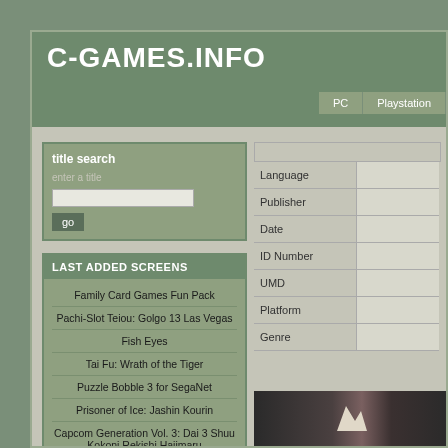C-GAMES.INFO
PC | Playstation
title search
enter a title
go
LAST ADDED SCREENS
Family Card Games Fun Pack
Pachi-Slot Teiou: Golgo 13 Las Vegas
Fish Eyes
Tai Fu: Wrath of the Tiger
Puzzle Bobble 3 for SegaNet
Prisoner of Ice: Jashin Kourin
Capcom Generation Vol. 3: Dai 3 Shuu Kokoni Rekishi Hajimaru
|  |  |
| --- | --- |
| Language |  |
| Publisher |  |
| Date |  |
| ID Number |  |
| UMD |  |
| Platform |  |
| Genre |  |
[Figure (photo): Dark screenshot strip at bottom right]